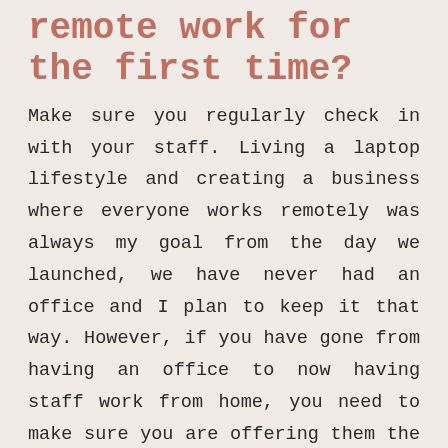remote work for the first time?
Make sure you regularly check in with your staff. Living a laptop lifestyle and creating a business where everyone works remotely was always my goal from the day we launched, we have never had an office and I plan to keep it that way. However, if you have gone from having an office to now having staff work from home, you need to make sure you are offering them the support that they need. I spoke to so many people during